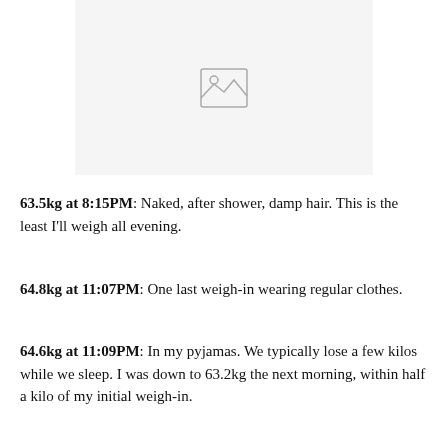[Figure (photo): Placeholder image with mountain/landscape icon on a light gray background]
63.5kg at 8:15PM: Naked, after shower, damp hair. This is the least I'll weigh all evening.
64.8kg at 11:07PM: One last weigh-in wearing regular clothes.
64.6kg at 11:09PM: In my pyjamas. We typically lose a few kilos while we sleep. I was down to 63.2kg the next morning, within half a kilo of my initial weigh-in.